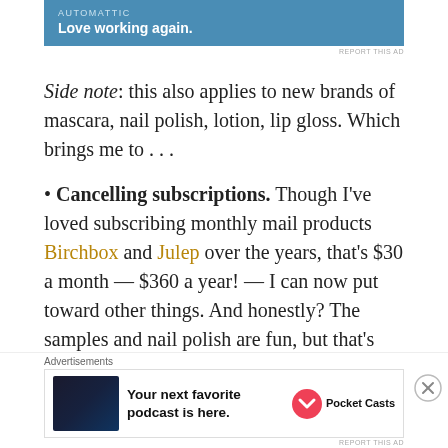[Figure (infographic): Automattic advertisement banner with blue background, text 'AUTOMATTIC' and 'Love working again.']
REPORT THIS AD
Side note: this also applies to new brands of mascara, nail polish, lotion, lip gloss. Which brings me to . . .
• Cancelling subscriptions. Though I've loved subscribing monthly mail products Birchbox and Julep over the years, that's $30 a month — $360 a year! — I can now put toward other things. And honestly? The samples and nail polish are fun, but that's just more stuff I'm bringing into our space. I don't need more stuff. I have plenty, more than I need, and I want to remember that.
[Figure (infographic): Pocket Casts advertisement: 'Your next favorite podcast is here.' with Pocket Casts logo.]